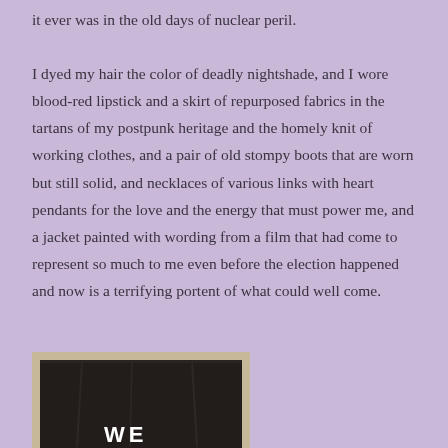it ever was in the old days of nuclear peril.
I dyed my hair the color of deadly nightshade, and I wore blood-red lipstick and a skirt of repurposed fabrics in the tartans of my postpunk heritage and the homely knit of working clothes, and a pair of old stompy boots that are worn but still solid, and necklaces of various links with heart pendants for the love and the energy that must power me, and a jacket painted with wording from a film that had come to represent so much to me even before the election happened and now is a terrifying portent of what could well come.
[Figure (photo): A black leather jacket photographed from behind, showing white painted lettering starting with 'WE' at the bottom, placed against a light beige background.]